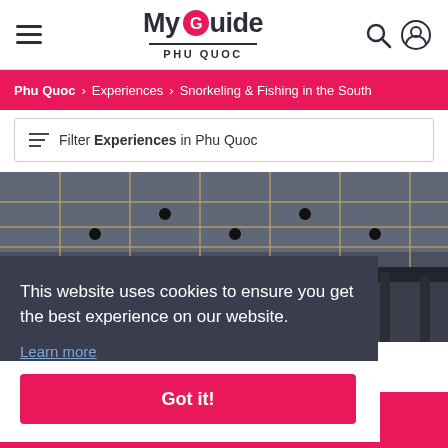My Guide PHU QUOC
Phu Quoc > Experiences > Snorkeling & Fishing in the South
Filter Experiences in Phu Quoc
[Figure (photo): Interior ceiling with grid structure and spotlights, dark ambiance]
This website uses cookies to ensure you get the best experience on our website. Learn more
Got it!